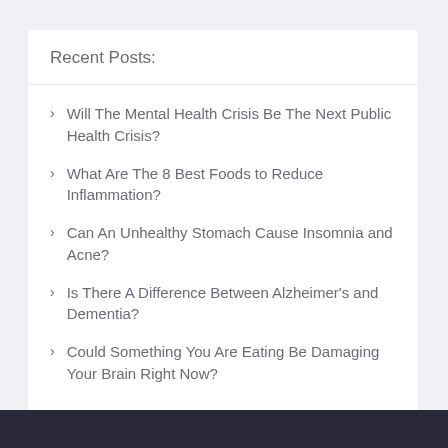Recent Posts:
Will The Mental Health Crisis Be The Next Public Health Crisis?
What Are The 8 Best Foods to Reduce Inflammation?
Can An Unhealthy Stomach Cause Insomnia and Acne?
Is There A Difference Between Alzheimer's and Dementia?
Could Something You Are Eating Be Damaging Your Brain Right Now?